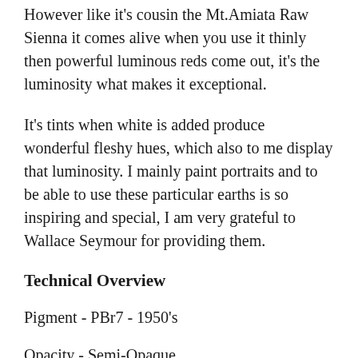However like it's cousin the Mt.Amiata Raw Sienna it comes alive when you use it thinly then powerful luminous reds come out, it's the luminosity what makes it exceptional.
It's tints when white is added produce wonderful fleshy hues, which also to me display that luminosity. I mainly paint portraits and to be able to use these particular earths is so inspiring and special, I am very grateful to Wallace Seymour for providing them.
Technical Overview
Pigment - PBr7 - 1950's
Opacity - Semi-Opaque